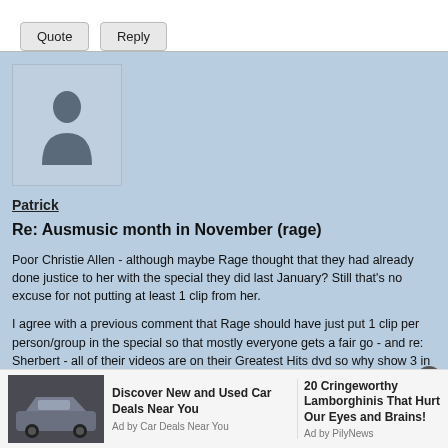Quote  Reply
[Figure (illustration): Default user avatar silhouette on a light blue-gray background]
Patrick
Re: Ausmusic month in November (rage)
Poor Christie Allen - although maybe Rage thought that they had already done justice to her with the special they did last January? Still that's no excuse for not putting at least 1 clip from her.
I agree with a previous comment that Rage should have just put 1 clip per person/group in the special so that mostly everyone gets a fair go - and re: Sherbert - all of their videos are on their Greatest Hits dvd so why show 3 in one night??
And yes I do love Renee - she's a great singer and I've been told by people who've worked with her she's a very assertive but generous performer. She
[Figure (photo): Advertisement showing a car - Discover New and Used Car Deals Near You - Ad by Car Deals Near You]
Discover New and Used Car Deals Near You
Ad by Car Deals Near You
20 Cringeworthy Lamborghinis That Hurt Our Eyes and Brains!
Ad by PilyNews